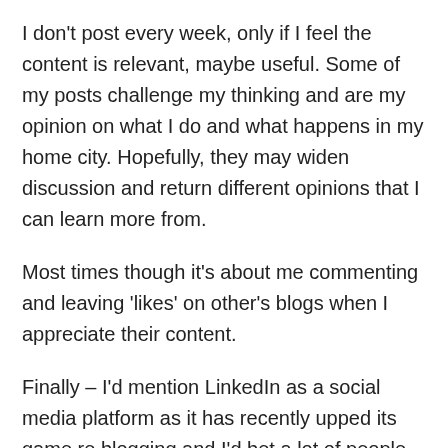I don't post every week, only if I feel the content is relevant, maybe useful. Some of my posts challenge my thinking and are my opinion on what I do and what happens in my home city. Hopefully, they may widen discussion and return different opinions that I can learn more from.
Most times though it's about me commenting and leaving 'likes' on other's blogs when I appreciate their content.
Finally – I'd mention LinkedIn as a social media platform as it has recently upped its game re blogging and I'd bet a lot of people are connected that way too. I'd also suggest various intranets would be social networks too.
I was at the...